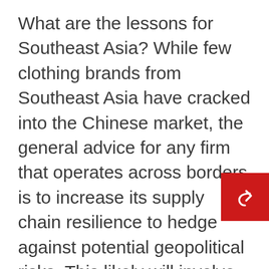What are the lessons for Southeast Asia? While few clothing brands from Southeast Asia have cracked into the Chinese market, the general advice for any firm that operates across borders is to increase its supply chain resilience to hedge against potential geopolitical risks. This likely will involve mapping out the entire supply chain to look for hidden vulnerabilities and diversifying the supply base to reduce reliance on one source. Currently, there are 95 members of the BCI from Indonesia, Malaysia, Singapore, Thailand, and Vietnam, almost all of which are intermediary suppliers of major international brands. Their commercial fates are not solely theirs to map out; it will probably be determined by the next move of their